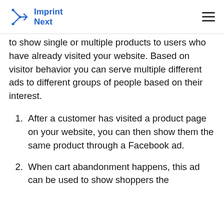Imprint Next
to show single or multiple products to users who have already visited your website. Based on visitor behavior you can serve multiple different ads to different groups of people based on their interest.
After a customer has visited a product page on your website, you can then show them the same product through a Facebook ad.
When cart abandonment happens, this ad can be used to show shoppers the product they abandoned to their next...